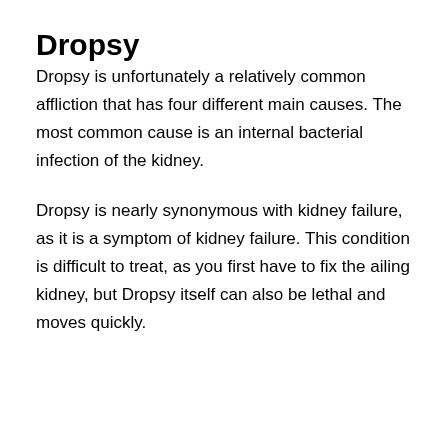Dropsy
Dropsy is unfortunately a relatively common affliction that has four different main causes. The most common cause is an internal bacterial infection of the kidney.
Dropsy is nearly synonymous with kidney failure, as it is a symptom of kidney failure. This condition is difficult to treat, as you first have to fix the ailing kidney, but Dropsy itself can also be lethal and moves quickly.